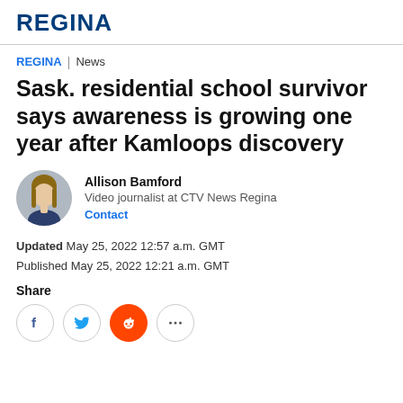REGINA
REGINA | News
Sask. residential school survivor says awareness is growing one year after Kamloops discovery
[Figure (photo): Headshot of Allison Bamford, video journalist]
Allison Bamford
Video journalist at CTV News Regina
Contact
Updated May 25, 2022 12:57 a.m. GMT
Published May 25, 2022 12:21 a.m. GMT
Share